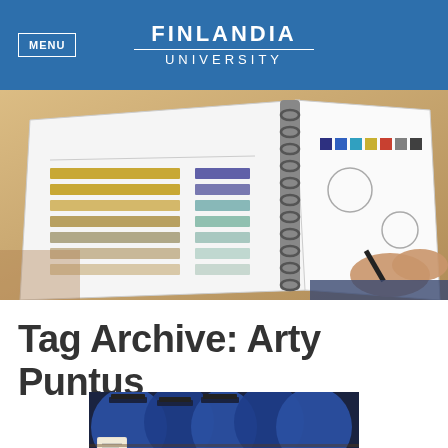MENU | FINLANDIA UNIVERSITY
[Figure (photo): Close-up photo of a person's hand writing in an open design workbook showing color swatches and bar chart color samples on a desk]
Tag Archive: Arty Puntus
[Figure (photo): Photo of blue graduation gowns and mortarboard caps on a table with a booklet visible]